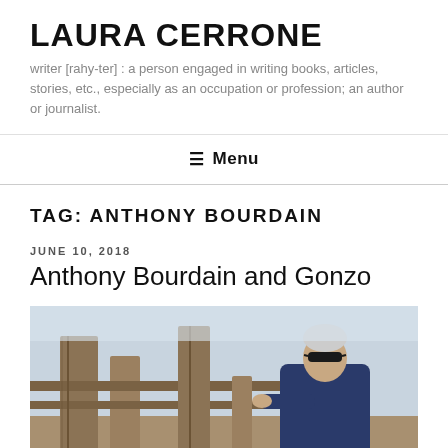LAURA CERRONE
writer [rahy-ter] : a person engaged in writing books, articles, stories, etc., especially as an occupation or profession; an author or journalist.
≡ Menu
TAG: ANTHONY BOURDAIN
JUNE 10, 2018
Anthony Bourdain and Gonzo
[Figure (photo): Photo of Anthony Bourdain wearing sunglasses and a navy blue long-sleeve shirt, leaning against a wooden fence outdoors under a pale sky.]